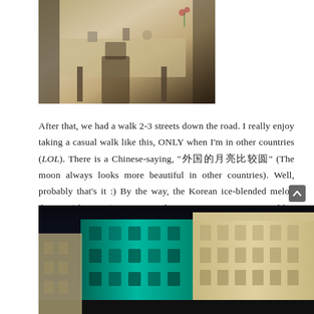[Figure (photo): Indoor restaurant/dining scene with a wooden table, chairs, and some items on the table, warm tones]
After that, we had a walk 2-3 streets down the road. I really enjoy taking a casual walk like this, ONLY when I'm in other countries (LOL). There is a Chinese-saying, "外国的月亮比较圆" (The moon always looks more beautiful in other countries). Well, probably that's it :) By the way, the Korean ice-blended melon dessert ("bing-su") is yummy but quite expensive. I wouldn't recommend you to try it.
[Figure (photo): Night-time photo of a illuminated colonial building facade with teal/blue and cream colored shophouses or heritage buildings]